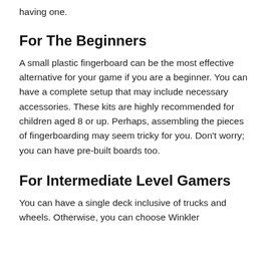having one.
For The Beginners
A small plastic fingerboard can be the most effective alternative for your game if you are a beginner. You can have a complete setup that may include necessary accessories. These kits are highly recommended for children aged 8 or up. Perhaps, assembling the pieces of fingerboarding may seem tricky for you. Don't worry; you can have pre-built boards too.
For Intermediate Level Gamers
You can have a single deck inclusive of trucks and wheels. Otherwise, you can choose Winkler